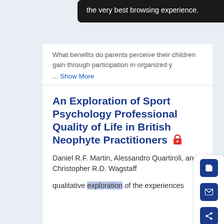the very best browsing experience.
What benefits do parents perceive their children gain through participation in organized y
... Show More
An Exploration of Sport Psychology Professional Quality of Life in British Neophyte Practitioners
Daniel R.F. Martin, Alessandro Quartiroli, and Christopher R.D. Wagstaff
qualitative exploration of the experiences